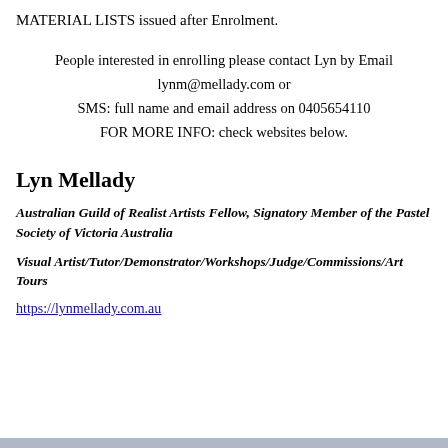MATERIAL LISTS issued after Enrolment.
People interested in enrolling please contact Lyn by Email lynm@mellady.com or SMS: full name and email address on 0405654110 FOR MORE INFO: check websites below.
Lyn Mellady
Australian Guild of Realist Artists Fellow, Signatory Member of the Pastel Society of Victoria Australia
Visual Artist/Tutor/Demonstrator/Workshops/Judge/Commissions/Art Tours
https://lynmellady.com.au